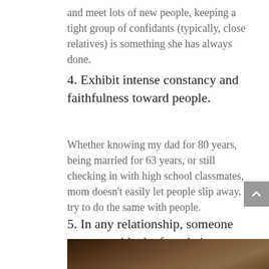and meet lots of new people, keeping a tight group of confidants (typically, close relatives) is something she has always done.
4.  Exhibit intense constancy and faithfulness toward people.
Whether knowing my dad for 80 years, being married for 63 years, or still checking in with high school classmates, mom doesn’t easily let people slip away. I try to do the same with people.
5.  In any relationship, someone must provide the foundation.
[Figure (photo): Partial photo visible at the bottom of the page, showing what appears to be a person or people in a warm-toned image.]